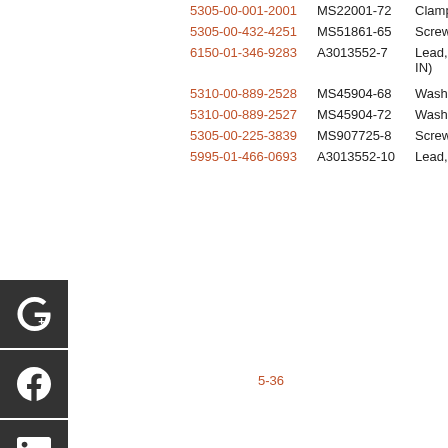| NSN | Part Number | Description |
| --- | --- | --- |
| 5305-00-001-2001 | MS22001-72 | Clamp, 100p... |
| 5305-00-432-4251 | MS51861-65 | Screw, Tappi... |
| 6150-01-346-9283 | A3013552-7 | Lead, Electri... IN) |
| 5310-00-889-2528 | MS45904-68 | Washer, Loc... |
| 5310-00-889-2527 | MS45904-72 | Washer, Loc... |
| 5305-00-225-3839 | MS907725-8 | Screw, Cap,... |
| 5995-01-466-0693 | A3013552-10 | Lead, Electri... |
[Figure (other): Social media sharing icons: Google+, Facebook, LinkedIn, Twitter, another icon, StumbleUpon]
5-36